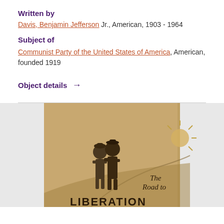Written by
Davis, Benjamin Jefferson Jr., American, 1903 - 1964
Subject of
Communist Party of the United States of America, American, founded 1919
Object details →
[Figure (photo): Book cover of 'The Road to Liberation' showing two figures looking toward a sunrise over a road landscape, on tan/brown paper stock.]